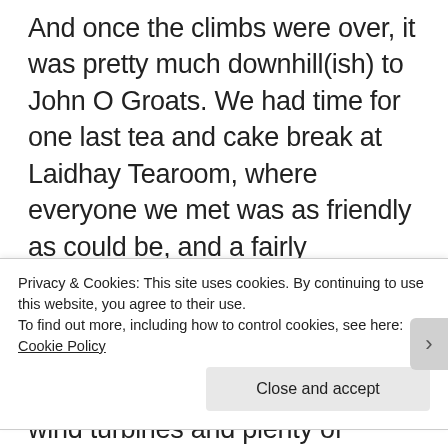And once the climbs were over, it was pretty much downhill(ish) to John O Groats. We had time for one last tea and cake break at Laidhay Tearoom, where everyone we met was as friendly as could be, and a fairly extended photo shoot on a road which took us inland just before Wick through the most stunning rural scenery, surrounded by wind turbines and plenty of sheep. We even had more time to perform an Abbie and Sally favourite perfected in Sydney years ago, taking a panorama photo but swapping the photographer half-way through so that we both appear in the one picture. We can
Privacy & Cookies: This site uses cookies. By continuing to use this website, you agree to their use.
To find out more, including how to control cookies, see here: Cookie Policy
Close and accept